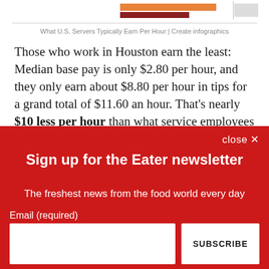[Figure (infographic): Partial bar chart showing server earnings, cropped at top of page with orange and dark red bars visible]
What U.S. Servers Typically Earn Per Hour | Create infographics
Those who work in Houston earn the least: Median base pay is only $2.80 per hour, and they only earn about $8.80 per hour in tips for a grand total of $11.60 an hour. That's nearly $10 less per hour than what service employees make in San Francisco. Servers in Philadelphia, Houston, Kansas City,
close ✕
Sign up for the Eater newsletter
The freshest news from the food world every day
Email (required)
SUBSCRIBE
By submitting your email, you agree to our Terms and Privacy Notice. You can opt out at any time. This site is protected by reCAPTCHA and the Google Privacy Policy and Terms of Service apply.